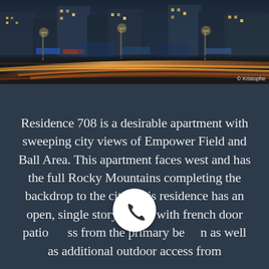[Figure (photo): Night cityscape with light trails on a street, storefronts and buildings lit up, urban intersection view]
© Kristophe
Residence 708 is a desirable apartment with sweeping city views of Empower Field and Ball Area. This apartment faces west and has the full Rocky Mountains completing the backdrop to the city. This residence has an open, single story layout with french door patio access from the primary bedroom as well as additional outdoor access from